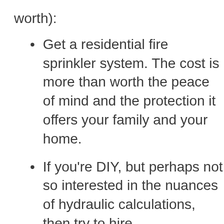worth):
Get a residential fire sprinkler system. The cost is more than worth the peace of mind and the protection it offers your family and your home.
If you're DIY, but perhaps not so interested in the nuances of hydraulic calculations, then try to hire